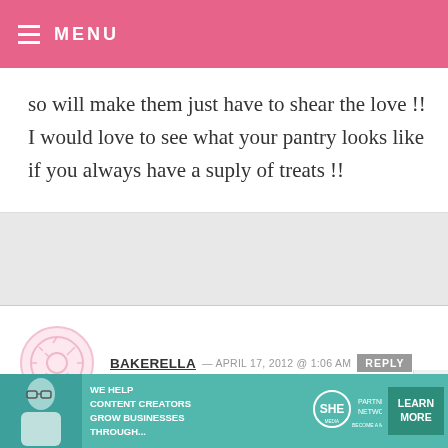MENU
so will make them just have to shear the love !! I would love to see what your pantry looks like if you always have a suply of treats !!
BAKERELLA — APRIL 17, 2012 @ 1:06 AM  REPLY
Lauren – Your brownie photo was so cute!
Erica – sure
Krysta – I like the way you work
[Figure (illustration): Ad banner: SHE Media Partner Network — We help content creators grow businesses through... Learn More]
We help content creators grow businesses through... SHE Partner Network — Become a member — Learn More